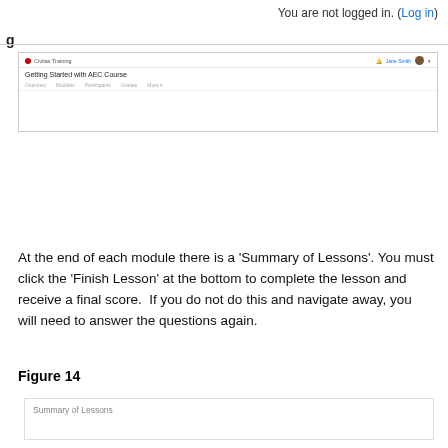You are not logged in. (Log in)
[Figure (screenshot): Screenshot of an online course platform showing 'Getting Started with AEC Course' interface with navigation bar, user avatar, and course menu items.]
At the end of each module there is a 'Summary of Lessons'. You must click the 'Finish Lesson' at the bottom to complete the lesson and receive a final score.  If you do not do this and navigate away, you will need to answer the questions again.
Figure 14
[Figure (screenshot): Screenshot showing 'Summary of Lessons' section of the online course.]